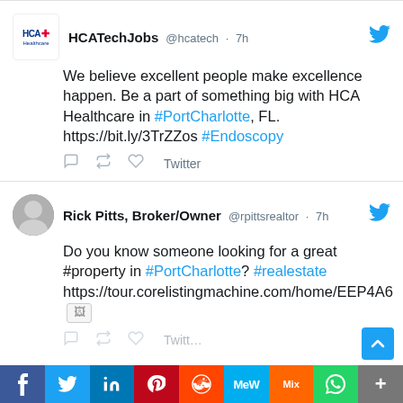[Figure (screenshot): Tweet from HCATechJobs (@hcatech) 7h ago: We believe excellent people make excellence happen. Be a part of something big with HCA Healthcare in #PortCharlotte, FL. https://bit.ly/3TrZZos #Endoscopy]
[Figure (screenshot): Tweet from Rick Pitts, Broker/Owner (@rpittsrealtor) 7h ago: Do you know someone looking for a great #property in #PortCharlotte? #realestate https://tour.corelistingmachine.com/home/EEP4A6 [image icon]]
[Figure (infographic): Social share bar with icons for Facebook, Twitter, LinkedIn, Pinterest, Reddit, MeWe, Mix, WhatsApp, More]